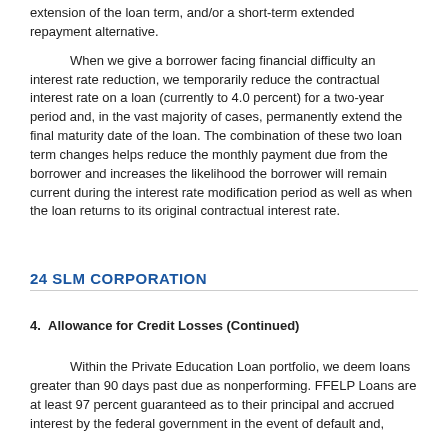extension of the loan term, and/or a short-term extended repayment alternative.
When we give a borrower facing financial difficulty an interest rate reduction, we temporarily reduce the contractual interest rate on a loan (currently to 4.0 percent) for a two-year period and, in the vast majority of cases, permanently extend the final maturity date of the loan. The combination of these two loan term changes helps reduce the monthly payment due from the borrower and increases the likelihood the borrower will remain current during the interest rate modification period as well as when the loan returns to its original contractual interest rate.
24 SLM CORPORATION
4.  Allowance for Credit Losses (Continued)
Within the Private Education Loan portfolio, we deem loans greater than 90 days past due as nonperforming. FFELP Loans are at least 97 percent guaranteed as to their principal and accrued interest by the federal government in the event of default and,